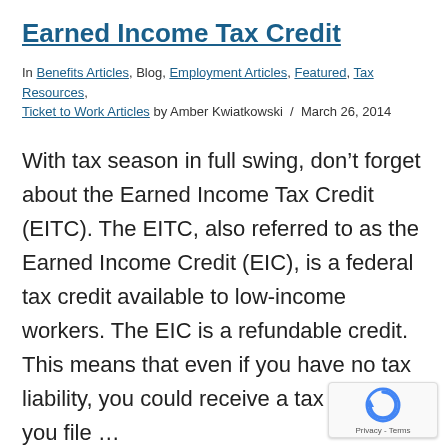Earned Income Tax Credit
In Benefits Articles, Blog, Employment Articles, Featured, Tax Resources, Ticket to Work Articles by Amber Kwiatkowski / March 26, 2014
With tax season in full swing, don’t forget about the Earned Income Tax Credit (EITC). The EITC, also referred to as the Earned Income Credit (EIC), is a federal tax credit available to low-income workers. The EIC is a refundable credit. This means that even if you have no tax liability, you could receive a tax refund if you file …